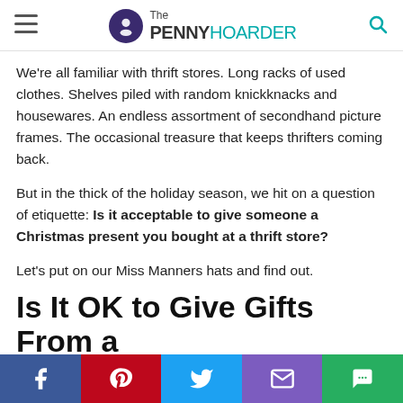The PENNY HOARDER
We're all familiar with thrift stores. Long racks of used clothes. Shelves piled with random knickknacks and housewares. An endless assortment of secondhand picture frames. The occasional treasure that keeps thrifters coming back.
But in the thick of the holiday season, we hit on a question of etiquette: Is it acceptable to give someone a Christmas present you bought at a thrift store?
Let's put on our Miss Manners hats and find out.
Is It OK to Give Gifts From a Thrift Store?